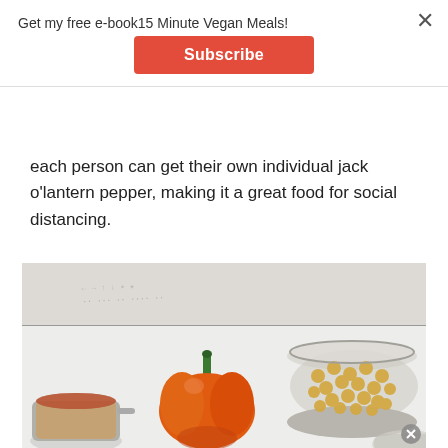Get my free e-book15 Minute Vegan Meals!
Subscribe
each person can get their own individual jack o'lantern pepper, making it a great food for social distancing.
[Figure (photo): Overhead view of food ingredients on a white surface: an orange bell pepper in the center, a glass bowl of chickpeas on the right, a measuring cup with tomato sauce on the lower left, and a small bowl partially visible at the bottom right.]